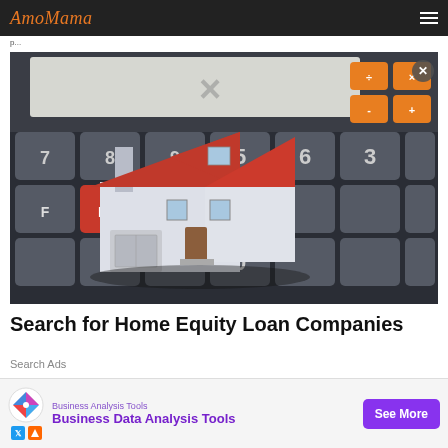AmoMama
[Figure (photo): 3D model of a house with red roof sitting on top of a calculator keyboard with large gray and orange keys]
Search for Home Equity Loan Companies
Search Ads
[Figure (infographic): Advertisement banner: Business Analysis Tools - Business Data Analysis Tools with See More button]